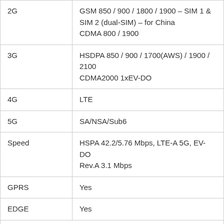| 2G | GSM 850 / 900 / 1800 / 1900 – SIM 1 & SIM 2 (dual-SIM) – for China
CDMA 800 / 1900 |
| 3G | HSDPA 850 / 900 / 1700(AWS) / 1900 / 2100
CDMA2000 1xEV-DO |
| 4G | LTE |
| 5G | SA/NSA/Sub6 |
| Speed | HSPA 42.2/5.76 Mbps, LTE-A 5G, EV-DO Rev.A 3.1 Mbps |
| GPRS | Yes |
| EDGE | Yes |
| CAMERA |  |
| Rear Quad | 12 MP, f/1.6, 26mm (wide), 1.7μm, dual pixel PDAF, Sensor-shift OIS |